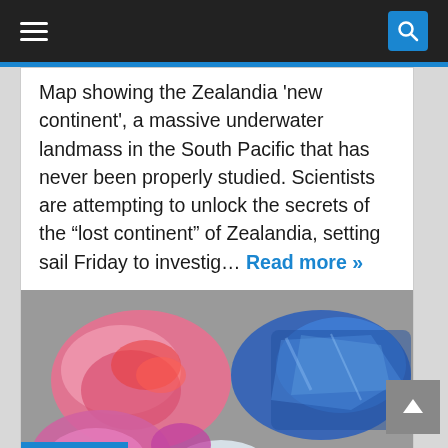Navigation bar with hamburger menu and search button
Map showing the Zealandia 'new continent', a massive underwater landmass in the South Pacific that has never been properly studied. Scientists are attempting to unlock the secrets of the "lost continent" of Zealandia, setting sail Friday to investig… Read more »
[Figure (photo): Close-up photograph of colorful mineral crystals and gemstones including pink, blue, and clear/white specimens on a grey background. Date badge showing 28 Jul 2017 overlaid on bottom-left.]